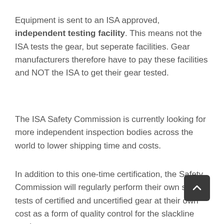Equipment is sent to an ISA approved, independent testing facility. This means not the ISA tests the gear, but seperate facilities. Gear manufacturers therefore have to pay these facilities and NOT the ISA to get their gear tested.
The ISA Safety Commission is currently looking for more independent inspection bodies across the world to lower shipping time and costs.
In addition to this one-time certification, the Safety Commission will regularly perform their own secret tests of certified and uncertified gear at their own cost as a form of quality control for the slackline market